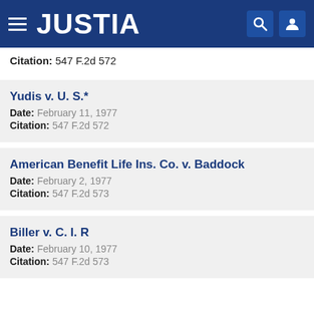JUSTIA
Citation: 547 F.2d 572
Yudis v. U. S.*
Date: February 11, 1977
Citation: 547 F.2d 572
American Benefit Life Ins. Co. v. Baddock
Date: February 2, 1977
Citation: 547 F.2d 573
Biller v. C. I. R
Date: February 10, 1977
Citation: 547 F.2d 573